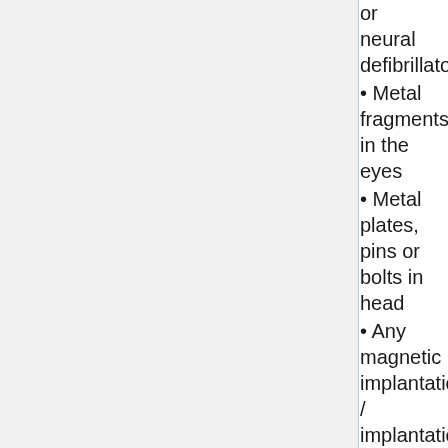cardiac or neural defibrillator
• Metal fragments in the eyes
• Metal plates, pins or bolts in head
• Any magnetic implantation / implantation made from iron